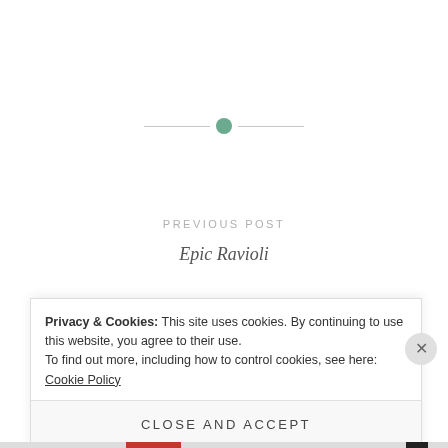[Figure (other): Horizontal divider line with a green circle in the center]
PREVIOUS POST
Epic Ravioli
NEXT POST
Start-up Encouragement
Privacy & Cookies: This site uses cookies. By continuing to use this website, you agree to their use.
To find out more, including how to control cookies, see here: Cookie Policy
Close and accept